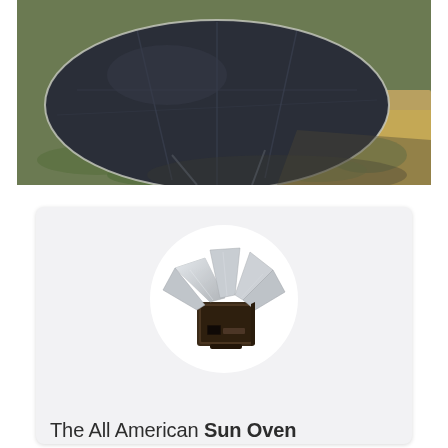[Figure (photo): Aerial-like photo of a large dark oval/circular solar collector panel laid flat on grassy ground outdoors, with sunlight casting shadows around it. The panel appears to be made of dark fabric or material stretched over a frame.]
[Figure (photo): Product card with light gray rounded background showing a circular white inset containing a photo of the All American Sun Oven product — a box-shaped solar cooker with reflective silver panels fanned open on top. Below the image reads 'The All American Sun Oven' with 'Sun Oven' in bold.]
The All American Sun Oven